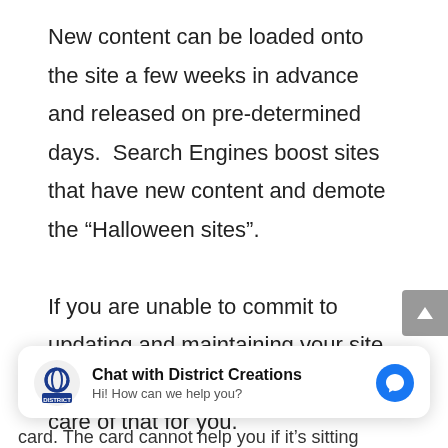New content can be loaded onto the site a few weeks in advance and released on pre-determined days.  Search Engines boost sites that have new content and demote the “Halloween sites”.
If you are unable to commit to updating and maintaining your site, you may like to have someone take care of that for you.
Chat with District Creations
Hi! How can we help you?
card.  The card cannot help you if it’s sitting